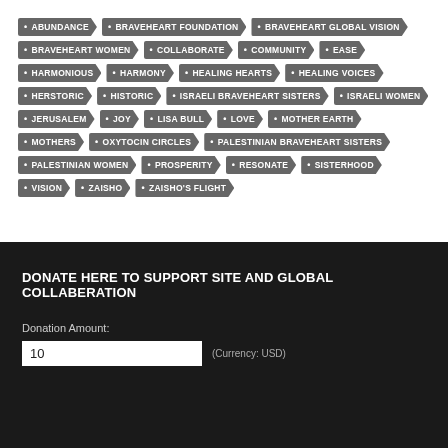ABUNDANCE
BRAVEHEART FOUNDATION
BRAVEHEART GLOBAL VISION
BRAVEHEART WOMEN
COLLABORATE
COMMUNITY
EASE
HARMONIOUS
HARMONY
HEALING HEARTS
HEALING VOICES
HERSTORIC
HISTORIC
ISRAELI BRAVEHEART SISTERS
ISRAELI WOMEN
JERUSALEM
JOY
LISA BULL
LOVE
MOTHER EARTH
MOTHERS
OXYTOCIN CIRCLES
PALESTINIAN BRAVEHEART SISTERS
PALESTINIAN WOMEN
PROSPERITY
RESONATE
SISTERHOOD
VISION
ZAISHO
ZAISHO'S FLIGHT
DONATE HERE TO SUPPORT SITE AND GLOBAL COLLABERATION
Donation Amount:
10
(Currency: USD)